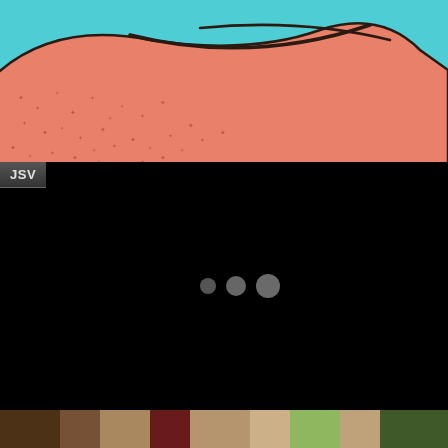[Figure (illustration): Illustrated/cartoon style image of skin with a fold or crease, showing pores or small marks scattered across a salmon/peach-colored skin surface against a teal/cyan blue background]
[Figure (screenshot): Black rectangle (video player or loading screen) with a 'JSV' label tab in the upper-left corner and three loading dots (small, medium, large circles) centered in the black area]
[Figure (photo): Partial photo at the bottom of the page showing food items including what appears to be various dishes or ingredients]